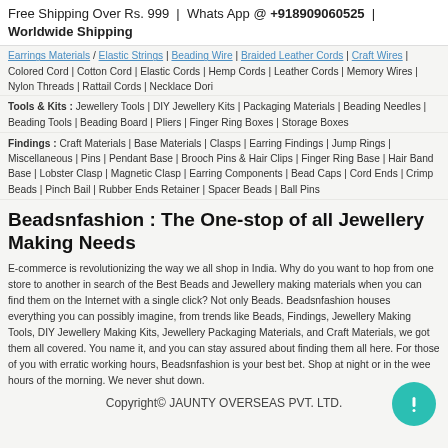Free Shipping Over Rs. 999 | Whats App @ +918909060525 | Worldwide Shipping
Earrings Materials: Elastic Strings | Beading Wire | Braided Leather Cords | Craft Wires | Colored Cord | Cotton Cord | Elastic Cords | Hemp Cords | Leather Cords | Memory Wires | Nylon Threads | Rattail Cords | Necklace Dori
Tools & Kits : Jewellery Tools | DIY Jewellery Kits | Packaging Materials | Beading Needles | Beading Tools | Beading Board | Pliers | Finger Ring Boxes | Storage Boxes
Findings : Craft Materials | Base Materials | Clasps | Earring Findings | Jump Rings | Miscellaneous | Pins | Pendant Base | Brooch Pins & Hair Clips | Finger Ring Base | Hair Band Base | Lobster Clasp | Magnetic Clasp | Earring Components | Bead Caps | Cord Ends | Crimp Beads | Pinch Bail | Rubber Ends Retainer | Spacer Beads | Ball Pins
Beadsnfashion : The One-stop of all Jewellery Making Needs
E-commerce is revolutionizing the way we all shop in India. Why do you want to hop from one store to another in search of the Best Beads and Jewellery making materials when you can find them on the Internet with a single click? Not only Beads. Beadsnfashion houses everything you can possibly imagine, from trends like Beads, Findings, Jewellery Making Tools, DIY Jewellery Making Kits, Jewellery Packaging Materials, and Craft Materials, we got them all covered. You name it, and you can stay assured about finding them all here. For those of you with erratic working hours, Beadsnfashion is your best bet. Shop at night or in the wee hours of the morning. We never shut down.
Copyright© JAUNTY OVERSEAS PVT. LTD.